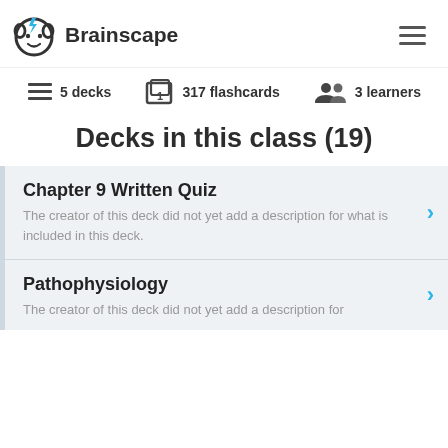Brainscape
5 decks   317 flashcards   3 learners
Decks in this class (19)
Chapter 9 Written Quiz
The creator of this deck did not yet add a description for what is included in this deck.
Pathophysiology
The creator of this deck did not yet add a description for